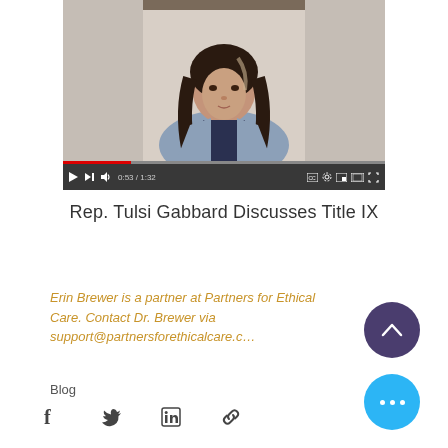[Figure (screenshot): Embedded video player showing a woman with long dark wavy hair wearing a light blue blazer, speaking to the camera. Video controls are visible at the bottom with a red progress bar showing approximately 0:53 / 1:32 elapsed.]
Rep. Tulsi Gabbard Discusses Title IX
Erin Brewer is a partner at Partners for Ethical Care. Contact Dr. Brewer via support@partnersforethicalcare.c…
Blog